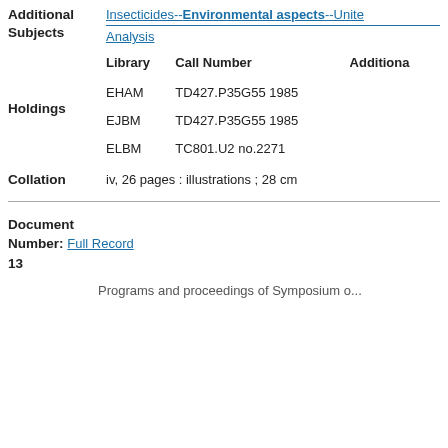Additional Subjects: Insecticides--Environmental aspects--United... Analysis
| Library | Call Number | Additional |
| --- | --- | --- |
| EHAM | TD427.P35G55 1985 |  |
| EJBM | TD427.P35G55 1985 |  |
| ELBM | TC801.U2 no.2271 |  |
Holdings
Collation: iv, 26 pages : illustrations ; 28 cm
Document Number: Full Record
13
Programs and proceedings of Symposium o...